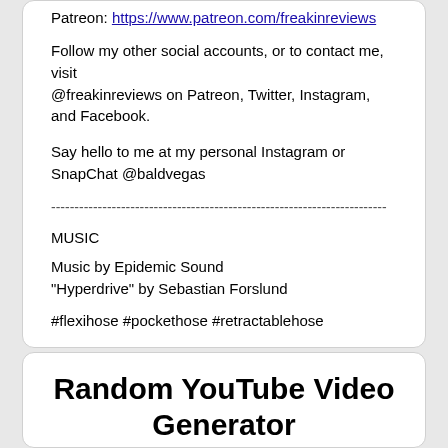Patreon: https://www.patreon.com/freakinreviews
Follow my other social accounts, or to contact me, visit
@freakinreviews on Patreon, Twitter, Instagram, and Facebook.
Say hello to me at my personal Instagram or SnapChat @baldvegas
------------------------------------------------------------------------
MUSIC
Music by Epidemic Sound
"Hyperdrive" by Sebastian Forslund
#flexihose #pockethose #retractablehose
Random YouTube Video Generator